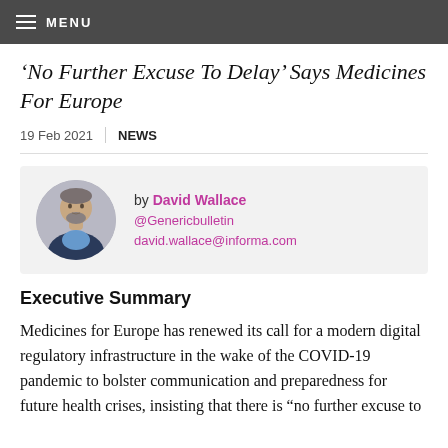MENU
‘No Further Excuse To Delay’ Says Medicines For Europe
19 Feb 2021 | NEWS
by David Wallace
@Genericbulletin
david.wallace@informa.com
Executive Summary
Medicines for Europe has renewed its call for a modern digital regulatory infrastructure in the wake of the COVID-19 pandemic to bolster communication and preparedness for future health crises, insisting that there is “no further excuse to